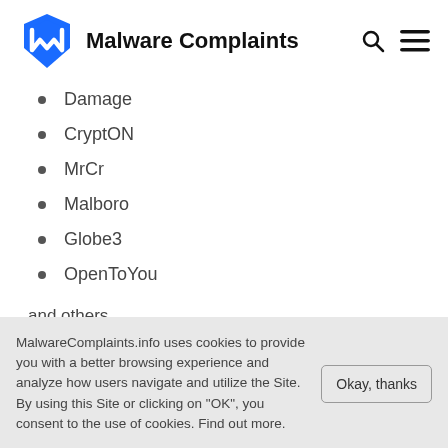Malware Complaints
Damage
CryptON
MrCr
Malboro
Globe3
OpenToYou
and others…
MalwareComplaints.info uses cookies to provide you with a better browsing experience and analyze how users navigate and utilize the Site. By using this Site or clicking on "OK", you consent to the use of cookies. Find out more.